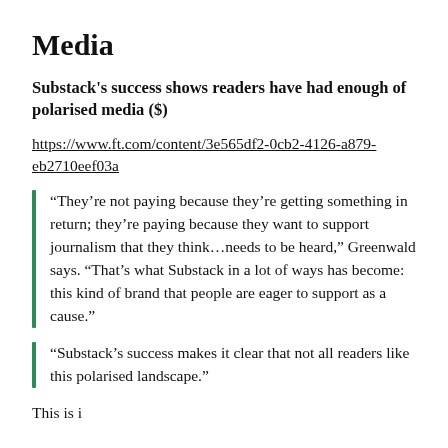Media
Substack's success shows readers have had enough of polarised media ($)
https://www.ft.com/content/3e565df2-0cb2-4126-a879-eb2710eef03a
“They’re not paying because they’re getting something in return; they’re paying because they want to support journalism that they think…needs to be heard,” Greenwald says. “That’s what Substack in a lot of ways has become: this kind of brand that people are eager to support as a cause.”
“Substack’s success makes it clear that not all readers like this polarised landscape.”
This is i...